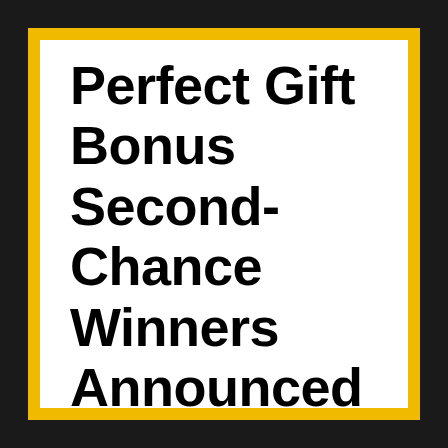Perfect Gift Bonus Second-Chance Winners Announced